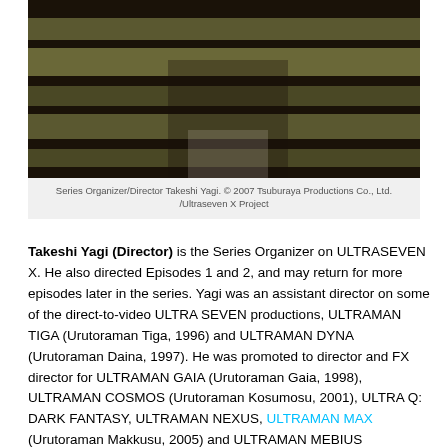[Figure (photo): Photo of Series Organizer/Director Takeshi Yagi wearing a striped sweater]
Series Organizer/Director Takeshi Yagi. © 2007 Tsuburaya Productions Co., Ltd. /Ultraseven X Project
Takeshi Yagi (Director) is the Series Organizer on ULTRASEVEN X. He also directed Episodes 1 and 2, and may return for more episodes later in the series. Yagi was an assistant director on some of the direct-to-video ULTRA SEVEN productions, ULTRAMAN TIGA (Urutoraman Tiga, 1996) and ULTRAMAN DYNA (Urutoraman Daina, 1997). He was promoted to director and FX director for ULTRAMAN GAIA (Urutoraman Gaia, 1998), ULTRAMAN COSMOS (Urutoraman Kosumosu, 2001), ULTRA Q: DARK FANTASY, ULTRAMAN NEXUS, ULTRAMAN MAX (Urutoraman Makkusu, 2005) and ULTRAMAN MEBIUS (Urutoraman Mebiusu, 2006). He also took charge as the series producer for ULTRAMAN MAX. Kenji Suzuki (Director) was the